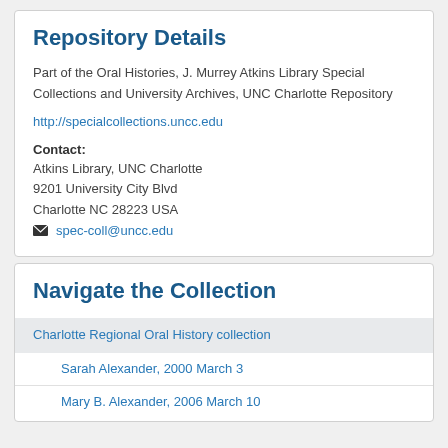Repository Details
Part of the Oral Histories, J. Murrey Atkins Library Special Collections and University Archives, UNC Charlotte Repository
http://specialcollections.uncc.edu
Contact:
Atkins Library, UNC Charlotte
9201 University City Blvd
Charlotte NC 28223 USA
✉ spec-coll@uncc.edu
Navigate the Collection
Charlotte Regional Oral History collection
Sarah Alexander, 2000 March 3
Mary B. Alexander, 2006 March 10